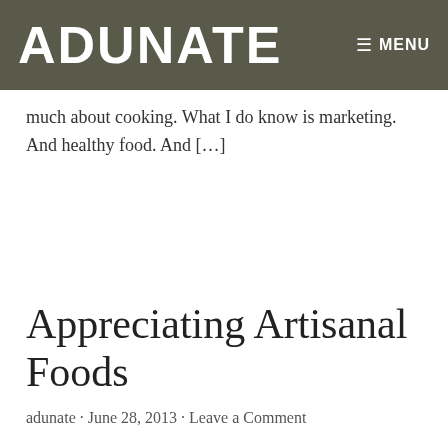ADUNATE
much about cooking. What I do know is marketing. And healthy food. And [...]
Appreciating Artisanal Foods
adunate · June 28, 2013 · Leave a Comment